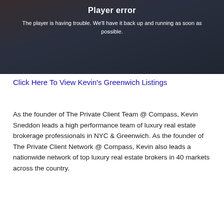[Figure (screenshot): Video player error screen with dark overlay background showing two people walking. Displays 'Player error' title and message 'The player is having trouble. We'll have it back up and running as soon as possible.']
Click Here To View Kevin's Greenwich Listings
As the founder of The Private Client Team @ Compass, Kevin Sneddon leads a high performance team of luxury real estate brokerage professionals in NYC & Greenwich. As the founder of The Private Client Network @ Compass, Kevin also leads a nationwide network of top luxury real estate brokers in 40 markets across the country.